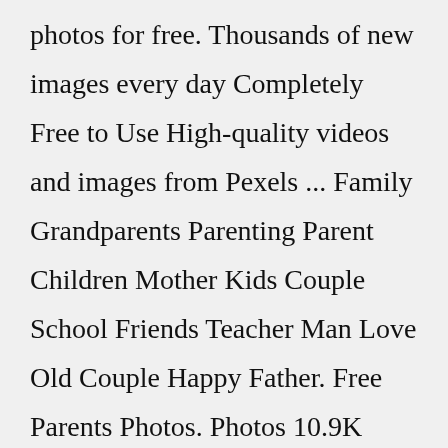photos for free. Thousands of new images every day Completely Free to Use High-quality videos and images from Pexels ... Family Grandparents Parenting Parent Children Mother Kids Couple School Friends Teacher Man Love Old Couple Happy Father. Free Parents Photos. Photos 10.9K Videos 5.4K Users 7. Filters ...Old Parents 8 photos · Curated by Prashant Meena 1 22 photos · Curated by mikaila ulmer Parents 107 photos · Curated by